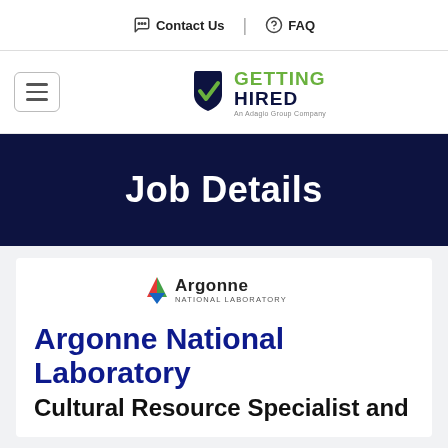Contact Us | FAQ
[Figure (logo): Getting Hired logo - An Adagio Group Company]
Job Details
[Figure (logo): Argonne National Laboratory logo]
Argonne National Laboratory
Cultural Resource Specialist and